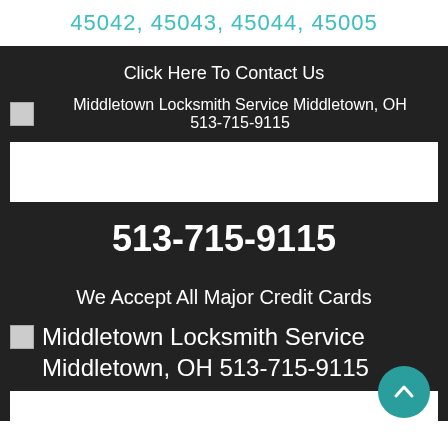45042, 45043, 45044, 45005
Click Here To Contact Us
Middletown Locksmith Service Middletown, OH 513-715-9115
[Figure (other): White placeholder box (broken image)]
513-715-9115
We Accept All Major Credit Cards
Middletown Locksmith Service Middletown, OH 513-715-9115
[Figure (other): White placeholder box (broken image) at bottom]